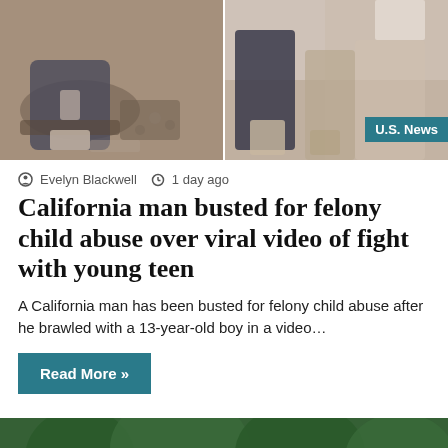[Figure (photo): Two side-by-side photos: left shows a person lying on the ground outdoors, right shows people standing near a vehicle with a 'U.S. News' badge overlay]
Evelyn Blackwell  1 day ago
California man busted for felony child abuse over viral video of fight with young teen
A California man has been busted for felony child abuse after he brawled with a 13-year-old boy in a video…
Read More »
[Figure (photo): Photo of a low-rise building with trees and sky in background, with a small scroll-up button in bottom-right corner]